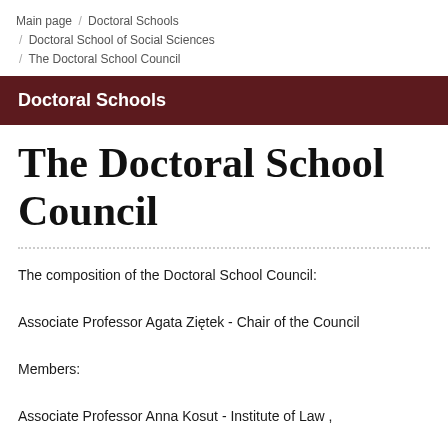Main page / Doctoral Schools / Doctoral School of Social Sciences / The Doctoral School Council
Doctoral Schools
The Doctoral School Council
The composition of the Doctoral School Council:
Associate Professor Agata Ziętek - Chair of the Council
Members:
Associate Professor Anna Kosut - Institute of Law ,
Associate Professor Marek Kulik - Institute of Law,